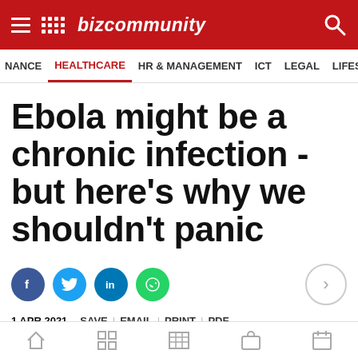Bizcommunity — HEALTHCARE navigation
NANCE  HEALTHCARE  HR & MANAGEMENT  ICT  LEGAL  LIFESTYLE
Ebola might be a chronic infection - but here's why we shouldn't panic
1 APR 2021   SAVE | EMAIL | PRINT | PDF